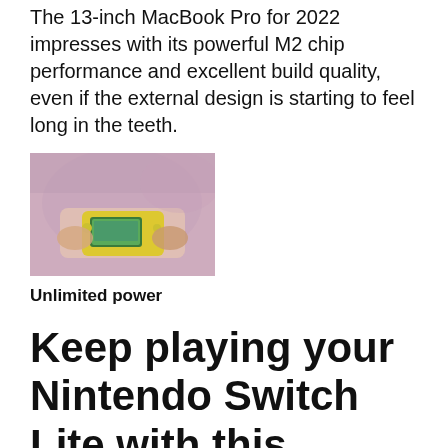The 13-inch MacBook Pro for 2022 impresses with its powerful M2 chip performance and excellent build quality, even if the external design is starting to feel long in the teeth.
[Figure (photo): Person holding a yellow Nintendo Switch Lite handheld gaming console, playing a game]
Unlimited power
Keep playing your Nintendo Switch Lite with this battery backup
Want to make sure you never run out of battery power for your Switch Lite? Get